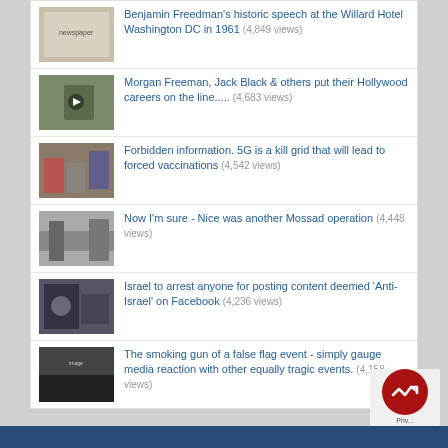Benjamin Freedman's historic speech at the Willard Hotel Washington DC in 1961 (4,849 views)
Morgan Freeman, Jack Black & others put their Hollywood careers on the line..... (4,683 views)
Forbidden information. 5G is a kill grid that will lead to forced vaccinations (4,542 views)
Now I'm sure - Nice was another Mossad operation (4,448 views)
Israel to arrest anyone for posting content deemed 'Anti-Israel' on Facebook (4,236 views)
The smoking gun of a false flag event - simply gauge media reaction with other equally tragic events. (4,158 views)